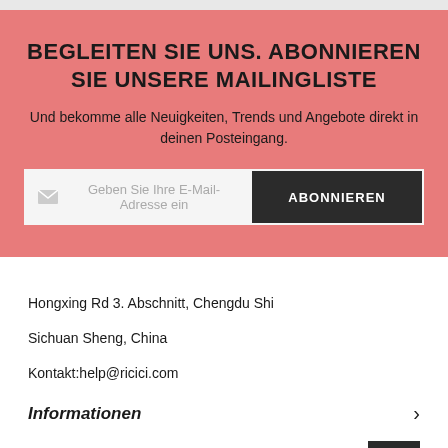BEGLEITEN SIE UNS. ABONNIEREN SIE UNSERE MAILINGLISTE
Und bekomme alle Neuigkeiten, Trends und Angebote direkt in deinen Posteingang.
Geben Sie Ihre E-Mail-Adresse ein  ABONNIEREN
Hongxing Rd 3. Abschnitt, Chengdu Shi
Sichuan Sheng, China
Kontakt:help@ricici.com
Informationen
Centre D'aide